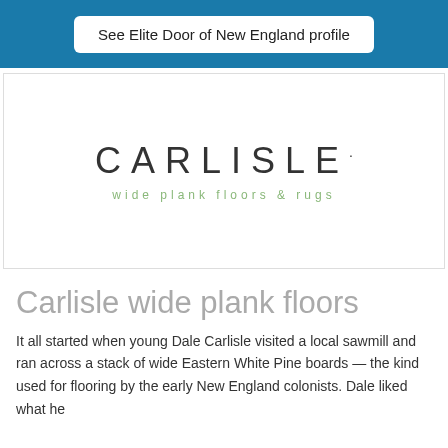See Elite Door of New England profile
[Figure (logo): Carlisle wide plank floors & rugs logo. 'CARLISLE' in large spaced gray letters, with 'wide plank floors & rugs' in small green spaced text below.]
Carlisle wide plank floors
It all started when young Dale Carlisle visited a local sawmill and ran across a stack of wide Eastern White Pine boards — the kind used for flooring by the early New England colonists. Dale liked what he